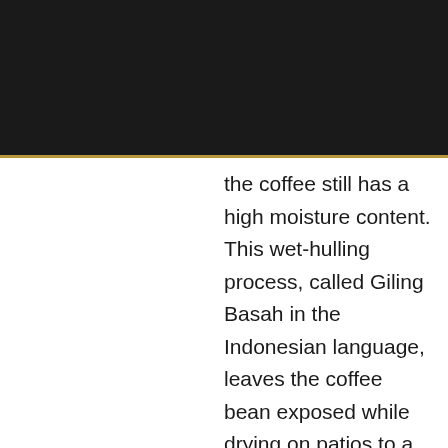[Figure (photo): Dark/black header background area at top of page]
the coffee still has a high moisture content. This wet-hulling process, called Giling Basah in the Indonesian language, leaves the coffee bean exposed while drying on patios to a moisture percentage acceptable for export. This Indonesian processing method gives the bean its unique bluish hue and the hallmark Indonesian profile. With Indonesian coffees, half the battle is